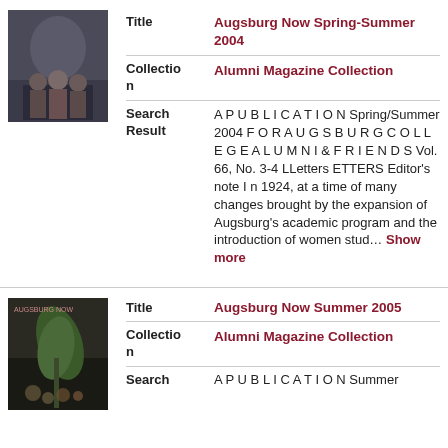[Figure (photo): Thumbnail photo of people, dark background, for Augsburg Now Spring-Summer 2004]
| Field | Value |
| --- | --- |
| Title | Augsburg Now Spring-Summer 2004 |
| Collection | Alumni Magazine Collection |
| Search Result | A P U B L I C A T I O N Spring/Summer 2004 F O R A U G S B U R G C O L L E G E A L U M N I & F R I E N D S Vol. 66, No. 3-4 LLetters ETTERS Editor's note I n 1924, at a time of many changes brought by the expansion of Augsburg's academic program and the introduction of women stud... Show more |
[Figure (photo): Thumbnail cover image for Augsburg Now Summer 2005, showing a plant/leaf on dark background]
| Field | Value |
| --- | --- |
| Title | Augsburg Now Summer 2005 |
| Collection | Alumni Magazine Collection |
| Search Result | A P U B L I C A T I O N Summer |